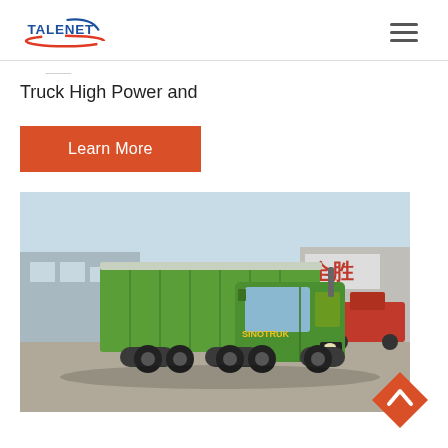TALENET
Truck High Power and
Learn More
[Figure (photo): Green SINOTRUK HOWO dump truck parked in a lot with buildings and a red truck visible in the background]
[Figure (other): Orange diamond-shaped back-to-top arrow button]